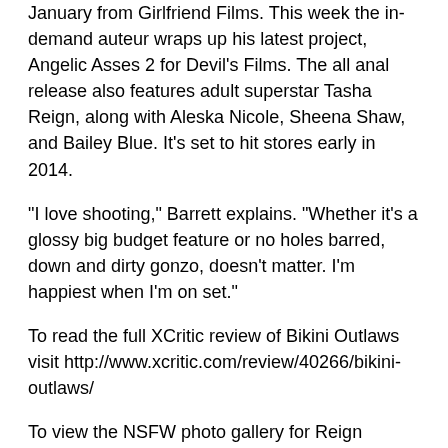January from Girlfriend Films. This week the in-demand auteur wraps up his latest project, Angelic Asses 2 for Devil's Films. The all anal release also features adult superstar Tasha Reign, along with Aleska Nicole, Sheena Shaw, and Bailey Blue. It's set to hit stores early in 2014.
“I love shooting,” Barrett explains. “Whether it’s a glossy big budget feature or no holes barred, down and dirty gonzo, doesn’t matter. I’m happiest when I’m on set.”
To read the full XCritic review of Bikini Outlaws visit http://www.xcritic.com/review/40266/bikini-outlaws/
To view the NSFW photo gallery for Reign Productions’ Tasha’s Pony Tales visit http://straight.fleshbot.com/5985118/tashas-pony-tales-a-magical-xxx-pony-adventure
For a Safe-for-Work photo gallery from Tasha’s Pony Tales, published on FilmDrunk.com visit http://filmdrunk.com/...